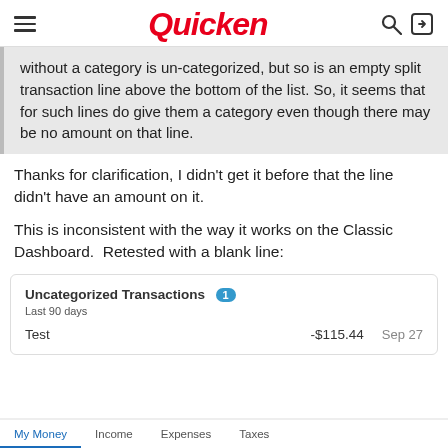Quicken
without a category is un-categorized, but so is an empty split transaction line above the bottom of the list. So, it seems that for such lines do give them a category even though there may be no amount on that line.
Thanks for clarification, I didn't get it before that the line didn't have an amount on it.
This is inconsistent with the way it works on the Classic Dashboard.  Retested with a blank line:
|  |  |  |
| --- | --- | --- |
| Uncategorized Transactions (1) |  |  |
| Last 90 days |  |  |
| Test | -$115.44 | Sep 27 |
My Money  Income  Expenses  Taxes